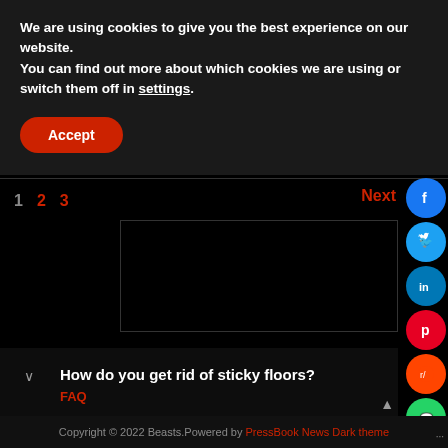We are using cookies to give you the best experience on our website.
You can find out more about which cookies we are using or switch them off in settings.
Accept
1  2  3   Next
[Figure (screenshot): Dark video/image embedded area, black rectangle with dark border]
How do you get rid of sticky floors?
FAQ
Copyright © 2022 Beasts.Powered by PressBook News Dark theme